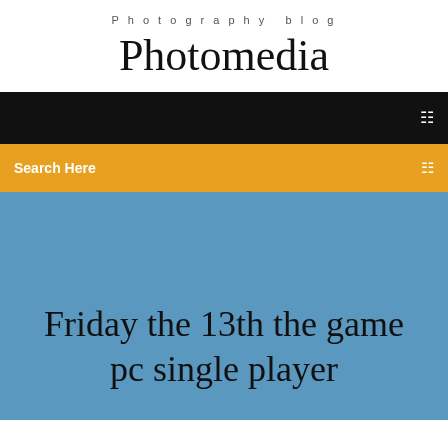Photography blog
Photomedia
Search Here
Friday the 13th the game pc single player